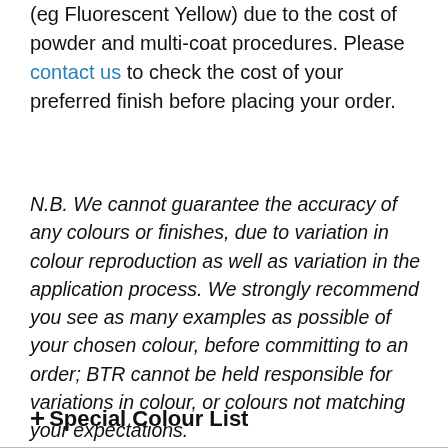(eg Fluorescent Yellow) due to the cost of powder and multi-coat procedures. Please contact us to check the cost of your preferred finish before placing your order.
N.B. We cannot guarantee the accuracy of any colours or finishes, due to variation in colour reproduction as well as variation in the application process. We strongly recommend you see as many examples as possible of your chosen colour, before committing to an order; BTR cannot be held responsible for variations in colour, or colours not matching your expectations.
+ Special Colour List